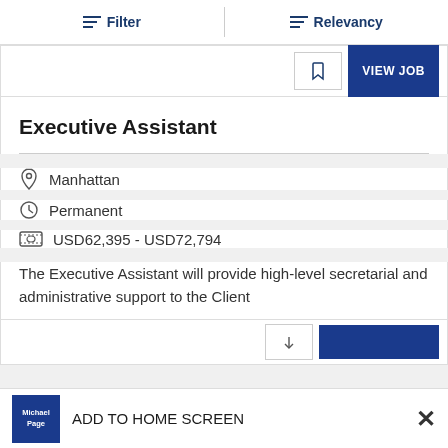Filter | Relevancy
[Figure (screenshot): Partially visible job card with VIEW JOB button and bookmark icon]
Executive Assistant
Manhattan
Permanent
USD62,395 - USD72,794
The Executive Assistant will provide high-level secretarial and administrative support to the Client
ADD TO HOME SCREEN